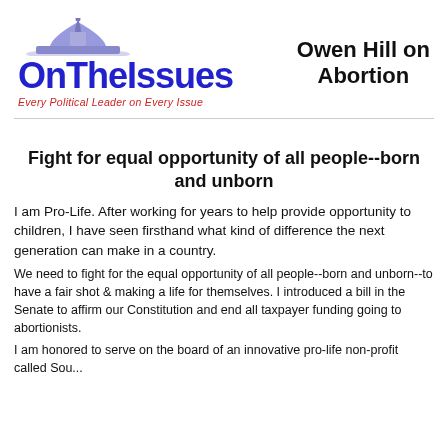[Figure (logo): OnTheIssues logo with dome icon and tagline 'Every Political Leader on Every Issue']
Owen Hill on Abortion
Fight for equal opportunity of all people--born and unborn
I am Pro-Life. After working for years to help provide opportunity to children, I have seen firsthand what kind of difference the next generation can make in a country.
We need to fight for the equal opportunity of all people--born and unborn--to have a fair shot & making a life for themselves. I introduced a bill in the Senate to affirm our Constitution and end all taxpayer funding going to abortionists.
I am honored to serve on the board of an innovative pro-life non-profit called Sou...